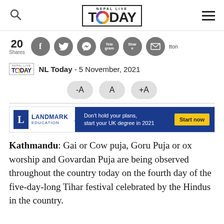Nepal Live Today
20 Shares — social share buttons (Facebook, Twitter, Messenger, Telegram, WhatsApp, Email)
NL Today - 5 November, 2021
Font size controls: -A  A  +A
[Figure (other): Landmark Education advertisement banner: Don't hold your plans, start your UK degree in 2021. Start now button.]
Kathmandu: Gai or Cow puja, Goru Puja or ox worship and Govardan Puja are being observed throughout the country today on the fourth day of the five-day-long Tihar festival celebrated by the Hindus in the country.